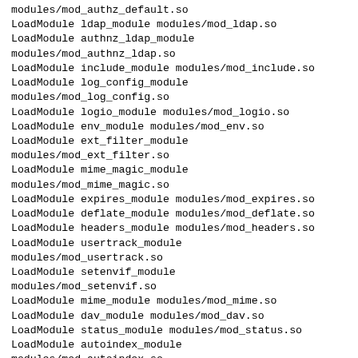modules/mod_authz_default.so
LoadModule ldap_module modules/mod_ldap.so
LoadModule authnz_ldap_module
modules/mod_authnz_ldap.so
LoadModule include_module modules/mod_include.so
LoadModule log_config_module
modules/mod_log_config.so
LoadModule logio_module modules/mod_logio.so
LoadModule env_module modules/mod_env.so
LoadModule ext_filter_module
modules/mod_ext_filter.so
LoadModule mime_magic_module
modules/mod_mime_magic.so
LoadModule expires_module modules/mod_expires.so
LoadModule deflate_module modules/mod_deflate.so
LoadModule headers_module modules/mod_headers.so
LoadModule usertrack_module
modules/mod_usertrack.so
LoadModule setenvif_module
modules/mod_setenvif.so
LoadModule mime_module modules/mod_mime.so
LoadModule dav_module modules/mod_dav.so
LoadModule status_module modules/mod_status.so
LoadModule autoindex_module
modules/mod_autoindex.so
LoadModule info_module modules/mod_info.so
LoadModule dav_fs_module modules/mod_dav_fs.so
LoadModule vhost_alias_module